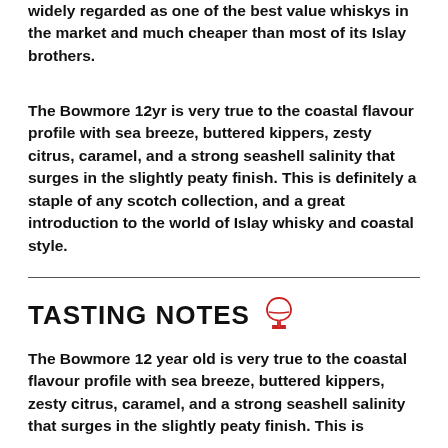widely regarded as one of the best value whiskys in the market and much cheaper than most of its Islay brothers.
The Bowmore 12yr is very true to the coastal flavour profile with sea breeze, buttered kippers, zesty citrus, caramel, and a strong seashell salinity that surges in the slightly peaty finish. This is definitely a staple of any scotch collection, and a great introduction to the world of Islay whisky and coastal style.
TASTING NOTES
The Bowmore 12 year old is very true to the coastal flavour profile with sea breeze, buttered kippers, zesty citrus, caramel, and a strong seashell salinity that surges in the slightly peaty finish. This is